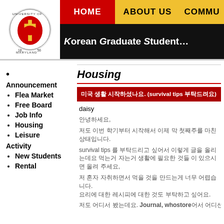Korean Graduate Student Association - University of Maryland
Announcement
Flea Market
Free Board
Job Info
Housing
Leisure
Activity
New Students
Rental
Housing
미국 생활 시작하셨나요. (survival tips 부탁드려요)
daisy
안녕하세요,
저도 이번 학기부터 시작해서 이제 막 첫째주를 마친 상태입니다.
survival tips 를 부탁드리고 싶어서 이렇게 글을 올리는데요 먹는거 자는거 생활에 필요한 것들 이 있으시면 올려 주세요,
저 혼자 자취하면서 먹을 것을 만드는게 너무 어렵습니다.
요리에 대한 레시피에 대한 것도 부탁하고 싶어요.
저도 어디서 봤는데요. Journal, whostore어서 어디선가 봤던...